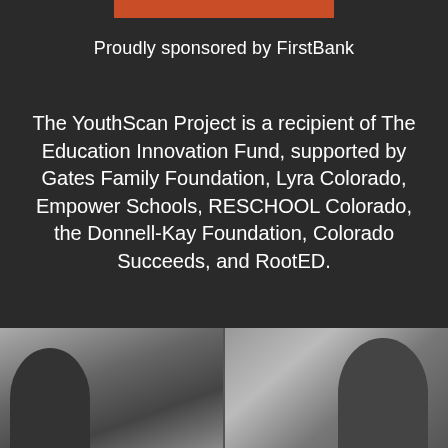[Figure (other): Orange/rust colored horizontal bar at top center]
Proudly sponsored by FirstBank
The YouthScan Project is a recipient of The Education Innovation Fund, supported by Gates Family Foundation, Lyra Colorado, Empower Schools, RESCHOOL Colorado, the Donnell-Kay Foundation, Colorado Succeeds, and RootED.
[Figure (photo): Black and white photo strip at bottom showing two groups of people, split into left and right panels]